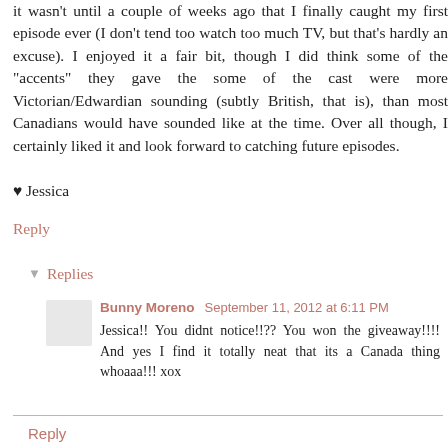it wasn't until a couple of weeks ago that I finally caught my first episode ever (I don't tend too watch too much TV, but that's hardly an excuse). I enjoyed it a fair bit, though I did think some of the "accents" they gave the some of the cast were more Victorian/Edwardian sounding (subtly British, that is), than most Canadians would have sounded like at the time. Over all though, I certainly liked it and look forward to catching future episodes.
♥ Jessica
Reply
▼ Replies
Bunny Moreno  September 11, 2012 at 6:11 PM
Jessica!! You didnt notice!!?? You won the giveaway!!!! And yes I find it totally neat that its a Canada thing whoaaa!!! xox
Reply